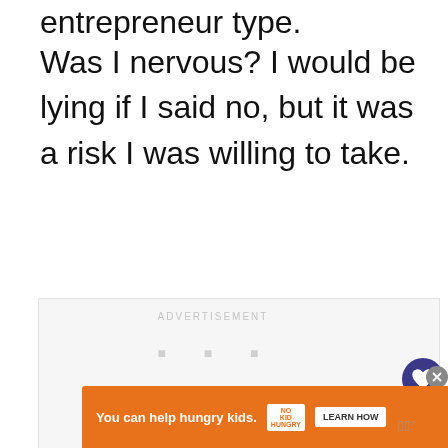entrepreneur type.
Was I nervous? I would be lying if I said no, but it was a risk I was willing to take.
[Figure (other): Advertisement placeholder box with 'ADVERTISEMENT' label and three loading dots]
[Figure (other): UI overlay: heart/like button (count: 2) and share button on right side]
[Figure (other): What's Next widget with thumbnail image and text 'How to Make Money with...']
[Figure (other): Bottom banner advertisement: orange background, 'You can help hungry kids.' text, No Kid Hungry logo, LEARN HOW button, close X button]